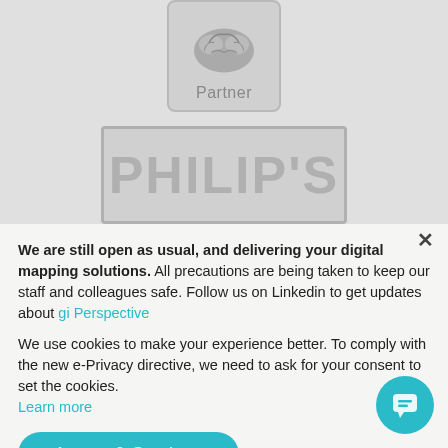[Figure (logo): Partner logo badge with brain icon and 'Partner' text in a rounded rectangle, gray color scheme]
[Figure (logo): PHILIP'S logo in large bold gray letters inside a bordered rectangle]
We are still open as usual, and delivering your digital mapping solutions. All precautions are being taken to keep our staff and colleagues safe. Follow us on Linkedin to get updates about gi Perspective
We use cookies to make your experience better. To comply with the new e-Privacy directive, we need to ask for your consent to set the cookies. Learn more